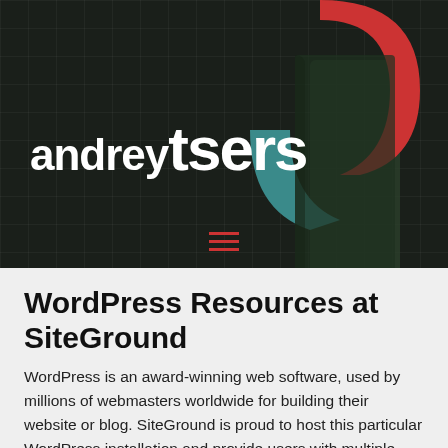[Figure (logo): Andrey Tsers website logo — white bold text 'andrey tsers' over dark grid background with abstract geometric shapes: red arc top center, teal/blue curved shape center, dark green tall shape right]
WordPress Resources at SiteGround
WordPress is an award-winning web software, used by millions of webmasters worldwide for building their website or blog. SiteGround is proud to host this particular WordPress installation and provide users with multiple resources to